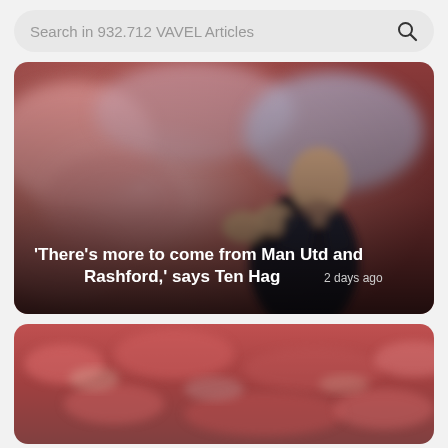Search in 932.712 VAVEL Articles
[Figure (photo): Erik ten Hag, Manchester United manager, clapping hands with a blurred crowd in the background. Overlay text: 'There's more to come from Man Utd and Rashford,' says Ten Hag  2 days ago]
[Figure (photo): A packed stadium crowd wearing red, viewed from above at pitch level, background is blurry red stands.]